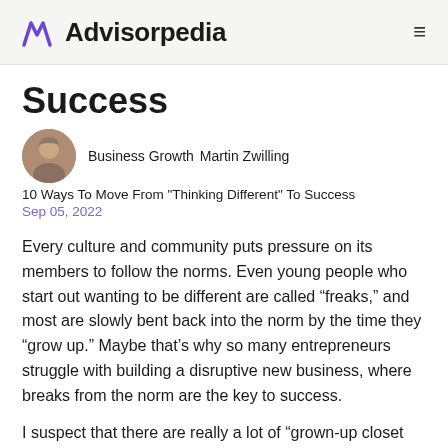Advisorpedia
Success
Business Growth  Martin Zwilling
10 Ways To Move From "Thinking Different" To Success
Sep 05, 2022
Every culture and community puts pressure on its members to follow the norms. Even young people who start out wanting to be different are called “freaks,” and most are slowly bent back into the norm by the time they “grow up.” Maybe that’s why so many entrepreneurs struggle with building a disruptive new business, where breaks from the norm are the key to success.
I suspect that there are really a lot of “grown-up closet freaks” out there who could be great entrepreneurs. We